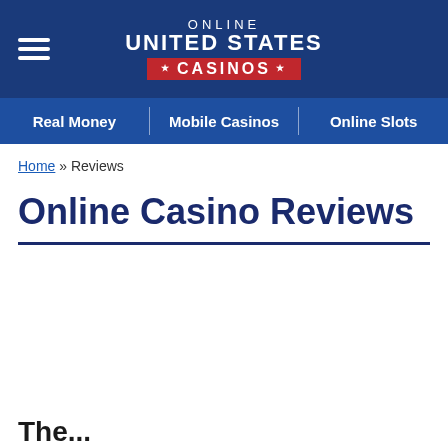ONLINE UNITED STATES CASINOS
Real Money | Mobile Casinos | Online Slots
Home » Reviews
Online Casino Reviews
The...